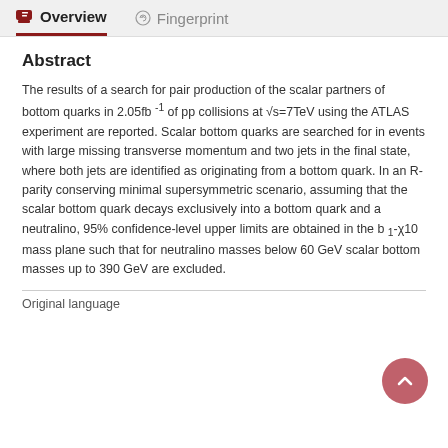Overview  Fingerprint
Abstract
The results of a search for pair production of the scalar partners of bottom quarks in 2.05fb ⁻¹ of pp collisions at √s=7TeV using the ATLAS experiment are reported. Scalar bottom quarks are searched for in events with large missing transverse momentum and two jets in the final state, where both jets are identified as originating from a bottom quark. In an R-parity conserving minimal supersymmetric scenario, assuming that the scalar bottom quark decays exclusively into a bottom quark and a neutralino, 95% confidence-level upper limits are obtained in the b₁-χ10 mass plane such that for neutralino masses below 60 GeV scalar bottom masses up to 390 GeV are excluded.
Original language